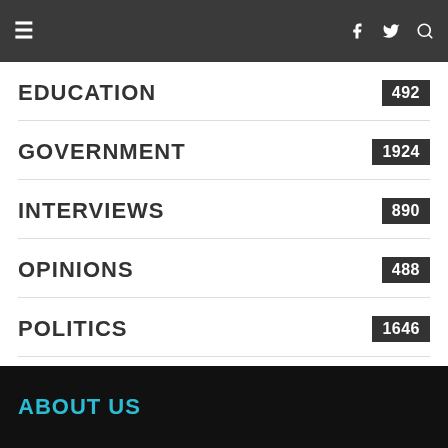Navigation bar with menu icon, Facebook, Twitter, Search icons
EDUCATION 492
GOVERNMENT 1924
INTERVIEWS 890
OPINIONS 488
POLITICS 1646
ABOUT US